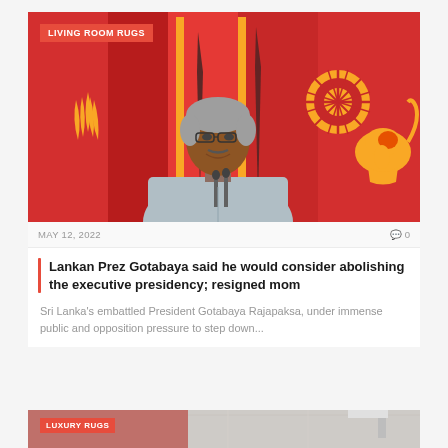[Figure (photo): Photo of Sri Lanka President Gotabaya Rajapaksa speaking at a podium with microphones, in front of red Sri Lankan flags with golden lion emblem and decorative elements. An advertisement overlay badge reads 'LIVING ROOM RUGS' in red.]
LIVING ROOM RUGS
MAY 12, 2022
0
Lankan Prez Gotabaya said he would consider abolishing the executive presidency; resigned mom
Sri Lanka's embattled President Gotabaya Rajapaksa, under immense public and opposition pressure to step down...
[Figure (photo): Partial bottom preview of another article with a 'LUXURY RUGS' advertisement badge overlaid on a room interior photo.]